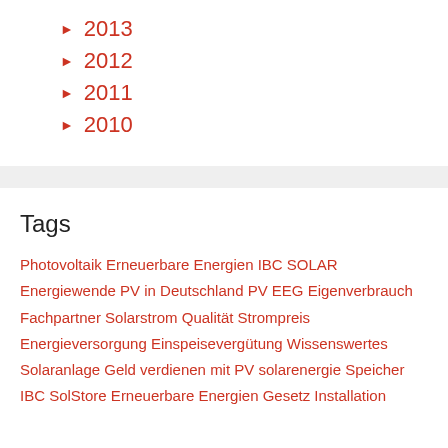▶ 2013
▶ 2012
▶ 2011
▶ 2010
Tags
Photovoltaik Erneuerbare Energien IBC SOLAR Energiewende PV in Deutschland PV EEG Eigenverbrauch Fachpartner Solarstrom Qualität Strompreis Energieversorgung Einspeisevergütung Wissenswertes Solaranlage Geld verdienen mit PV solarenergie Speicher IBC SolStore Erneuerbare Energien Gesetz Installation